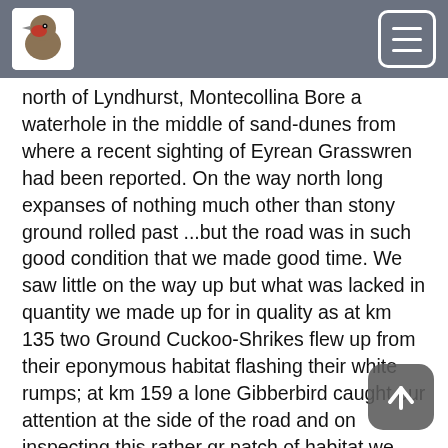north of Lyndhurst, Montecollina Bore a waterhole in the middle of sand-dunes from where a recent sighting of Eyrean Grasswren had been reported. On the way north long expanses of nothing much other than stony ground rolled past ...but the road was in such good condition that we made good time. We saw little on the way up but what was lacked in quantity we made up for in quality as at km 135 two Ground Cuckoo-Shrikes flew up from their eponymous habitat flashing their white rumps; at km 159 a lone Gibberbird caught our attention at the side of the road and on inspecting this rather gr patch of habitat we turned up a Pied Honeyeater. After seeing nothing much more